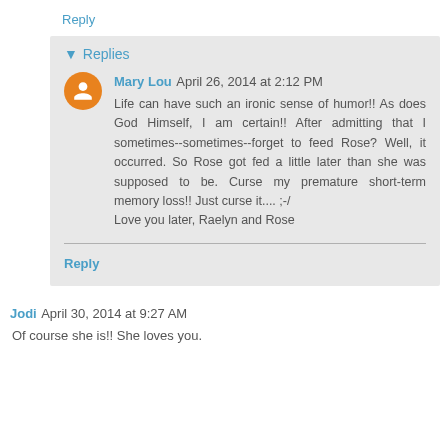Reply
▾ Replies
Mary Lou  April 26, 2014 at 2:12 PM
Life can have such an ironic sense of humor!! As does God Himself, I am certain!! After admitting that I sometimes--sometimes--forget to feed Rose? Well, it occurred. So Rose got fed a little later than she was supposed to be. Curse my premature short-term memory loss!! Just curse it.... ;-/
Love you later, Raelyn and Rose
Reply
Jodi  April 30, 2014 at 9:27 AM
Of course she is!! She loves you.